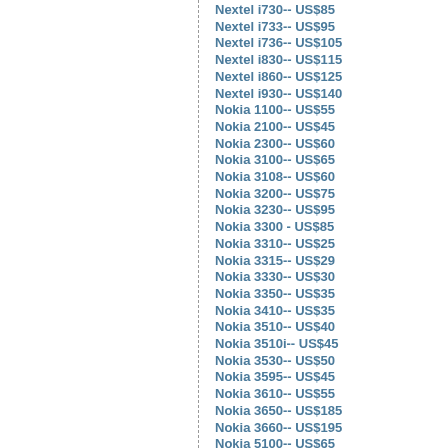Nextel i730-- US$85
Nextel i733-- US$95
Nextel i736-- US$105
Nextel i830-- US$115
Nextel i860-- US$125
Nextel i930-- US$140
Nokia 1100-- US$55
Nokia 2100-- US$45
Nokia 2300-- US$60
Nokia 3100-- US$65
Nokia 3108-- US$60
Nokia 3200-- US$75
Nokia 3230-- US$95
Nokia 3300 - US$85
Nokia 3310-- US$25
Nokia 3315-- US$29
Nokia 3330-- US$30
Nokia 3350-- US$35
Nokia 3410-- US$35
Nokia 3510-- US$40
Nokia 3510i-- US$45
Nokia 3530-- US$50
Nokia 3595-- US$45
Nokia 3610-- US$55
Nokia 3650-- US$185
Nokia 3660-- US$195
Nokia 5100-- US$65
Nokia 5140-- US$110
Nokia 5210-- US$40
Nokia 5510-- US$105